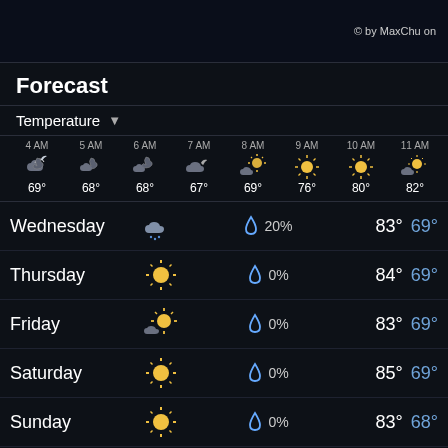© by MaxChu on
Forecast
Temperature ▾
| Time | Icon | Temp |
| --- | --- | --- |
| 4 AM | partly-cloudy-night | 69° |
| 5 AM | partly-cloudy-night | 68° |
| 6 AM | partly-cloudy-night | 68° |
| 7 AM | cloudy-night | 67° |
| 8 AM | partly-cloudy-day | 69° |
| 9 AM | sunny | 76° |
| 10 AM | sunny | 80° |
| 11 AM | partly-cloudy-sunny | 82° |
| Day | Condition | Precip% | High | Low |
| --- | --- | --- | --- | --- |
| Wednesday | rainy-cloud | 20% | 83° | 69° |
| Thursday | sunny | 0% | 84° | 69° |
| Friday | partly-cloudy-sun | 0% | 83° | 69° |
| Saturday | sunny | 0% | 85° | 69° |
| Sunday | sunny | 0% | 83° | 68° |
| Monday | sunny | 0% | 82° | 69° |
| Tuesday | thunderstorm | 5% | 82° | 69° |